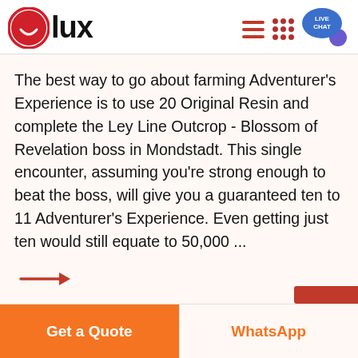[Figure (logo): Olux logo: red circle with white smiley face, followed by bold text 'lux']
The best way to go about farming Adventurer's Experience is to use 20 Original Resin and complete the Ley Line Outcrop - Blossom of Revelation boss in Mondstadt. This single encounter, assuming you're strong enough to beat the boss, will give you a guaranteed ten to 11 Adventurer's Experience. Even getting just ten would still equate to 50,000 ...
[Figure (illustration): Red arrow pointing right, used as a link indicator]
Get a Quote   WhatsApp